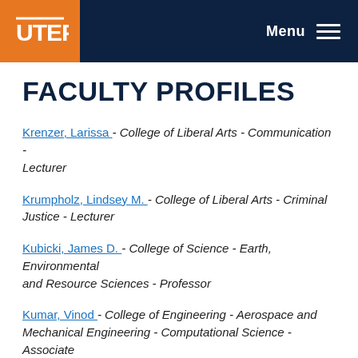UTEP — Menu
FACULTY PROFILES
Krenzer, Larissa - College of Liberal Arts - Communication - Lecturer
Krumpholz, Lindsey M. - College of Liberal Arts - Criminal Justice - Lecturer
Kubicki, James D. - College of Science - Earth, Environmental and Resource Sciences - Professor
Kumar, Vinod - College of Engineering - Aerospace and Mechanical Engineering - Computational Science - Associate